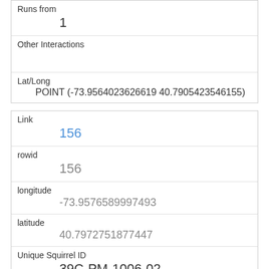| Runs from | 1 |
| Other Interactions |  |
| Lat/Long | POINT (-73.9564023626619 40.7905423546155) |
| Link | 156 |
| rowid | 156 |
| longitude | -73.9576589997493 |
| latitude | 40.7972751877447 |
| Unique Squirrel ID | 39C-PM-1006-02 |
| Hectare | 39C |
| Shift |  |